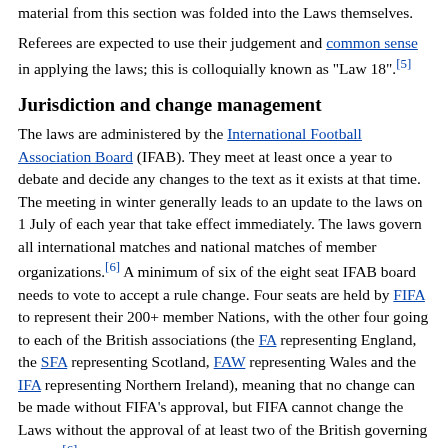material from this section was folded into the Laws themselves.
Referees are expected to use their judgement and common sense in applying the laws; this is colloquially known as "Law 18".[5]
Jurisdiction and change management
The laws are administered by the International Football Association Board (IFAB). They meet at least once a year to debate and decide any changes to the text as it exists at that time. The meeting in winter generally leads to an update to the laws on 1 July of each year that take effect immediately. The laws govern all international matches and national matches of member organizations.[6] A minimum of six of the eight seat IFAB board needs to vote to accept a rule change. Four seats are held by FIFA to represent their 200+ member Nations, with the other four going to each of the British associations (the FA representing England, the SFA representing Scotland, FAW representing Wales and the IFA representing Northern Ireland), meaning that no change can be made without FIFA's approval, but FIFA cannot change the Laws without the approval of at least two of the British governing bodies.[6]
History